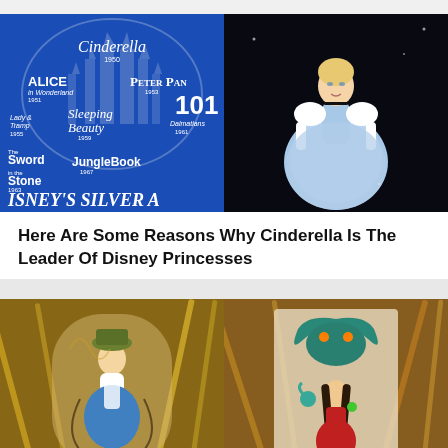[Figure (illustration): Blue background Disney Silver Age movie titles graphic showing Cinderella, Alice in Wonderland, Peter Pan, Lady and the Tramp, Sleeping Beauty, 101 Dalmatians, The Sword in the Stone, Jungle Book, and Disney's Silver Age text]
[Figure (illustration): Cinderella Disney character in blue gown against dark background]
Here Are Some Reasons Why Cinderella Is The Leader Of Disney Princesses
[Figure (illustration): Dark fantasy artwork showing Alice in Wonderland character with Mad Hatter, surrounded by art supplies]
[Figure (illustration): Dark fantasy artwork showing a Disney princess character with a dragon/creature headdress, surrounded by art supplies]